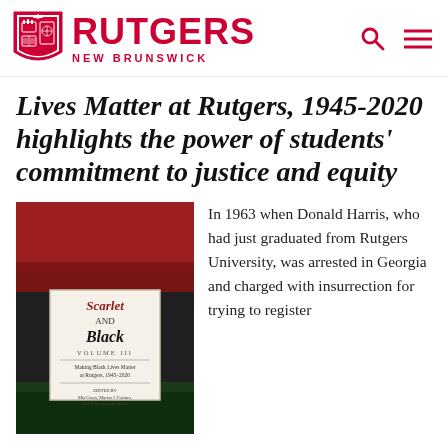RUTGERS NEW BRUNSWICK
Lives Matter at Rutgers, 1945-2020 highlights the power of students' commitment to justice and equity
[Figure (photo): Book cover of 'Scarlet and Black Volume III: Making Black Lives Matter at Rutgers, 1945-2020', edited by Mia Casey, Marisa J. Fuentes, and Deborah Gray White. The cover shows a textured red and black background with the book's title and editors in a central white box.]
In 1963 when Donald Harris, who had just graduated from Rutgers University, was arrested in Georgia and charged with insurrection for trying to register